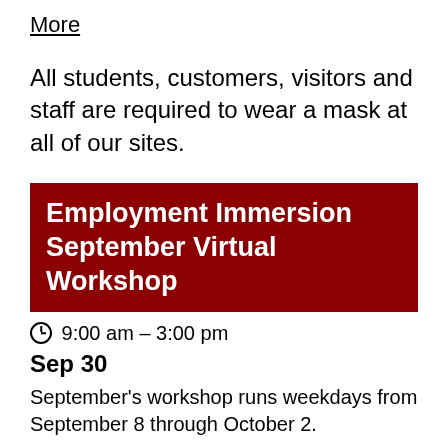More
All students, customers, visitors and staff are required to wear a mask at all of our sites.
Employment Immersion September Virtual Workshop
9:00 am – 3:00 pm
Sep 30
September's workshop runs weekdays from September 8 through October 2.
There IS a job market! Job seekers who are blind and have low vision are in demand to